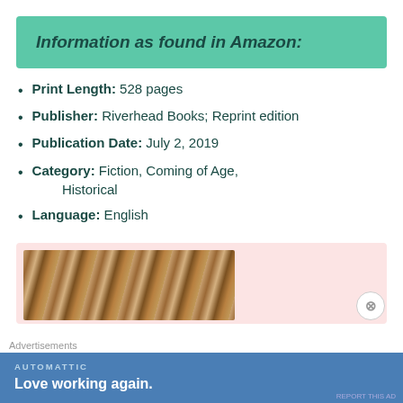Information as found in Amazon:
Print Length: 528 pages
Publisher: Riverhead Books; Reprint edition
Publication Date: July 2, 2019
Category: Fiction, Coming of Age, Historical
Language: English
[Figure (photo): Pink background box with a partial book cover photo showing a textured brown/tan surface]
Advertisements
AUTOMATTIC
Love working again.